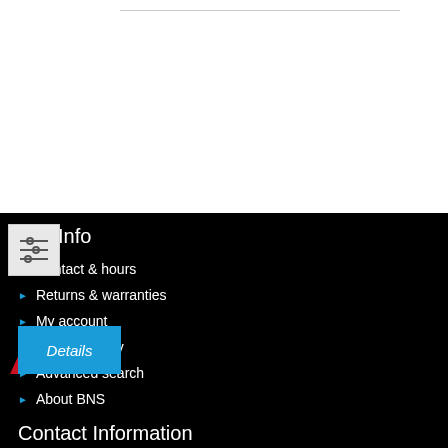[Figure (screenshot): Blue 'Details' tab with red triangle on left, and a filter/settings icon below it]
Key Info
Contact & hours
Returns & warranties
My account
Orders history
Advanced search
About BNS
Contact Information
Summer Hours March 15-October 1
Boulder, CO: